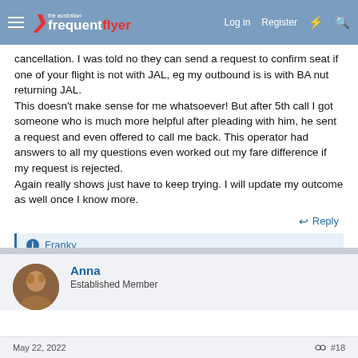the australian frequent flyer | Log in | Register
cancellation. I was told no they can send a request to confirm seat if one of your flight is not with JAL, eg my outbound is is with BA nut returning JAL. This doesn't make sense for me whatsoever! But after 5th call I got someone who is much more helpful after pleading with him, he sent a request and even offered to call me back. This operator had answers to all my questions even worked out my fare difference if my request is rejected. Again really shows just have to keep trying. I will update my outcome as well once I know more.
Reply
Franky
Anna
Established Member
May 22, 2022   #18